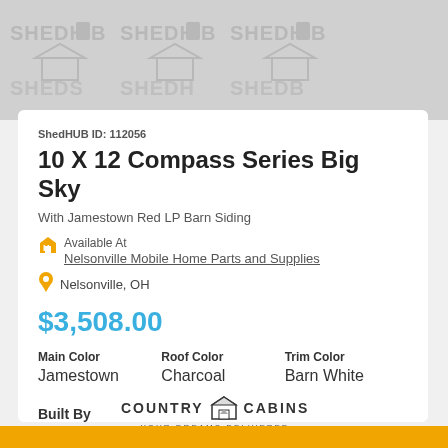[Figure (logo): ShedHUB watermark repeated across gray background]
ShedHUB ID: 112056
10 X 12 Compass Series Big Sky
With Jamestown Red LP Barn Siding
Available At
Nelsonville Mobile Home Parts and Supplies
Nelsonville, OH
$3,508.00
| Main Color | Roof Color | Trim Color |
| --- | --- | --- |
| Jamestown | Charcoal | Barn White |
Built By
[Figure (logo): Country Cabins - Your Dreams Delivered logo with small cabin icon]